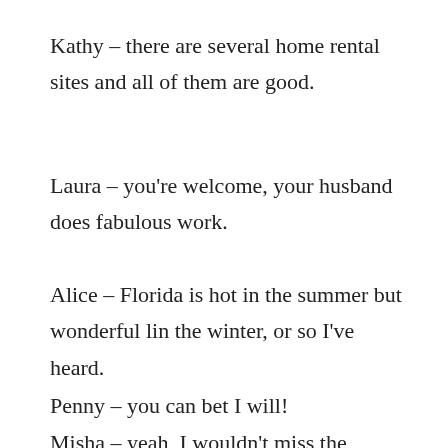Kathy – there are several home rental sites and all of them are good.
Laura – you're welcome, your husband does fabulous work.
Alice – Florida is hot in the summer but wonderful lin the winter, or so I've heard.
Penny – you can bet I will!
Misha – yeah, I wouldn't miss the